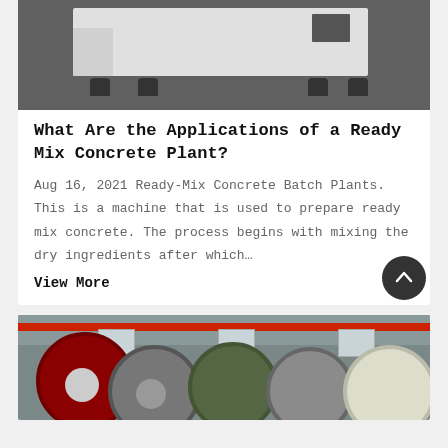[Figure (photo): Industrial concrete batch plant machine - white rectangular unit on dark floor]
What Are the Applications of a Ready Mix Concrete Plant?
Aug 16, 2021 Ready-Mix Concrete Batch Plants. This is a machine that is used to prepare ready mix concrete. The process begins with mixing the dry ingredients after which…
View More
[Figure (photo): Factory interior showing large cylindrical rollers/drums in red and green, industrial equipment in manufacturing facility]